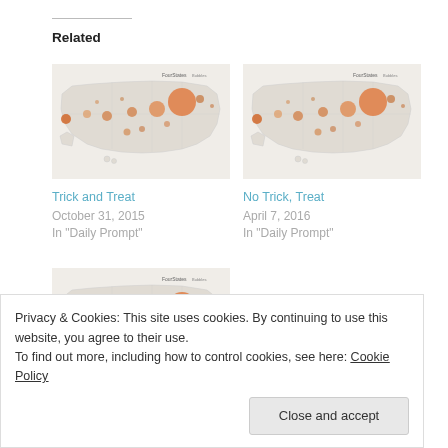Related
[Figure (map): US map with orange bubble markers showing data distribution across states]
Trick and Treat
October 31, 2015
In "Daily Prompt"
[Figure (map): US map with orange bubble markers showing data distribution across states]
No Trick, Treat
April 7, 2016
In "Daily Prompt"
[Figure (map): US map with orange bubble markers showing data distribution across states]
Privacy & Cookies: This site uses cookies. By continuing to use this website, you agree to their use.
To find out more, including how to control cookies, see here: Cookie Policy
Close and accept